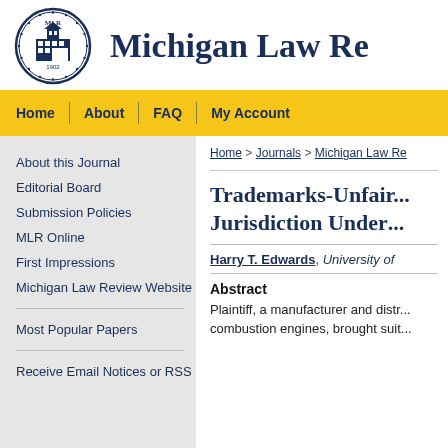[Figure (logo): Michigan Law Review circular seal/logo with building illustration, 'MLR' text, and '1902' date]
Michigan Law Review
Home
About
FAQ
My Account
About this Journal
Editorial Board
Submission Policies
MLR Online
First Impressions
Michigan Law Review Website
Most Popular Papers
Receive Email Notices or RSS
Home > Journals > Michigan Law Re...
Trademarks-Unfair... Jurisdiction Under...
Harry T. Edwards, University of...
Abstract
Plaintiff, a manufacturer and distr... combustion engines, brought suit...